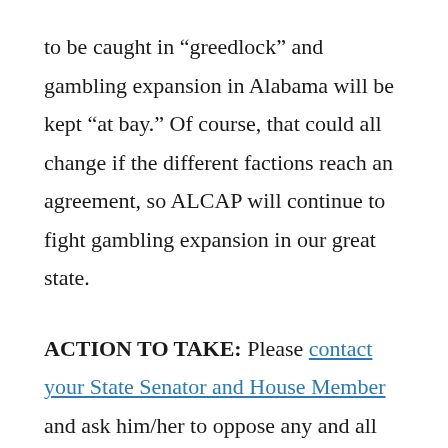to be caught in “greedlock” and gambling expansion in Alabama will be kept “at bay.” Of course, that could all change if the different factions reach an agreement, so ALCAP will continue to fight gambling expansion in our great state.
ACTION TO TAKE: Please contact your State Senator and House Member and ask him/her to oppose any and all gambling expansion legislation that may be introduced. Click on the link. At the ALCAP website click on the “find my